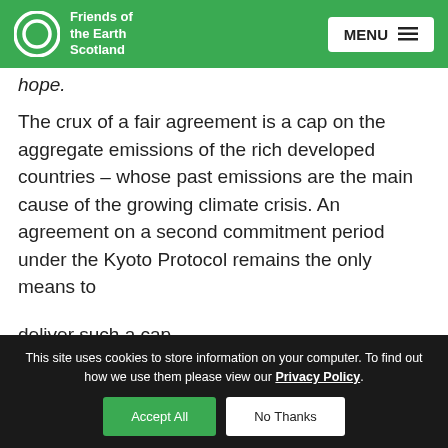Friends of the Earth Scotland
hope.
The crux of a fair agreement is a cap on the aggregate emissions of the rich developed countries – whose past emissions are the main cause of the growing climate crisis. An agreement on a second commitment period under the Kyoto Protocol remains the only means to deliver such a cap.
This site uses cookies to store information on your computer. To find out how we use them please view our Privacy Policy. Accept All No Thanks